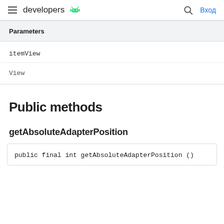developers  Вход
Parameters
itemView
View
Public methods
getAbsoluteAdapterPosition
public final int getAbsoluteAdapterPosition ()